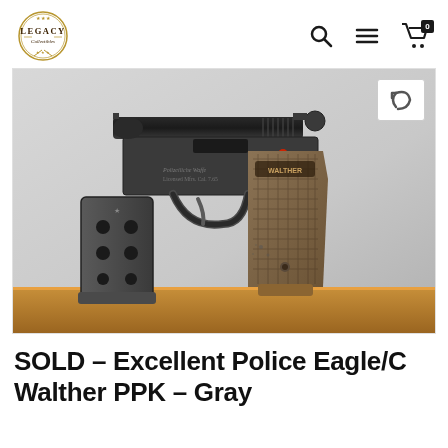LEGACY Collectibles
[Figure (photo): Photograph of a Walther PPK pistol with Police Eagle/C markings and brown checkered grips, alongside a detached magazine, displayed on a wooden surface against a gray background.]
SOLD – Excellent Police Eagle/C Walther PPK – Gray